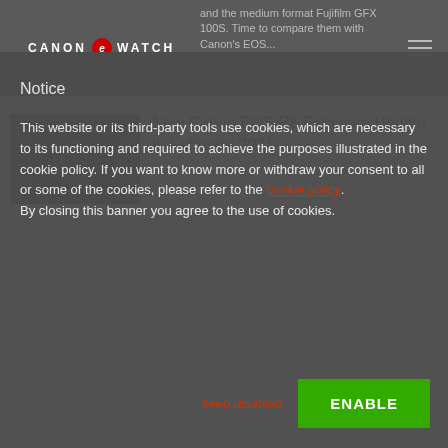CANON [logo] WATCH
and the medium format Fujifilm GFX 100S. Time to compare them with Canon's EOS...
New Canon EOS R5 Firmware Update In February 2021
[Figure (photo): Canon EOS R5 camera body photo]
Notice
This website or its third-party tools use cookies, which are necessary to its functioning and required to achieve the purposes illustrated in the cookie policy. If you want to know more or withdraw your consent to all or some of the cookies, please refer to the cookie policy.
By closing this banner you agree to the use of cookies.
keep disabled
ENABLE
The old Canon EOS R5 polemics are